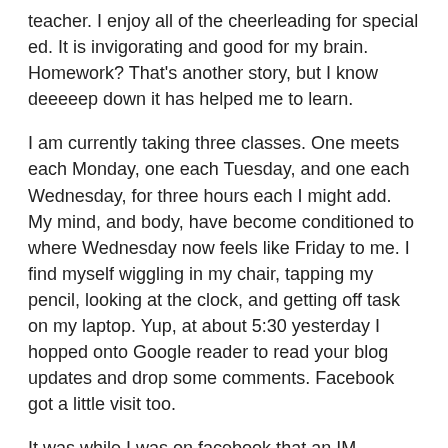teacher.  I enjoy all of the cheerleading for special ed.  It is invigorating and good for my brain.  Homework?  That's another story, but I know deeeeep down it has helped me to learn.
I am currently taking three classes.  One meets each Monday, one each Tuesday, and one each Wednesday, for three hours each I might add.  My mind, and body, have become conditioned to where Wednesday now feels like Friday to me.  I find myself wiggling in my chair, tapping my pencil, looking at the clock, and getting off task on my laptop.  Yup, at about 5:30 yesterday I hopped onto Google reader to read your blog updates and drop some comments.  Facebook got a little visit too.
It was while I was on facebook that an IM popped up.   It was from my oldest son, who was sitting in class across campus somewhere.
I can't stand this class anymore.
So I typed back.  I am tired and can't concentrate today.